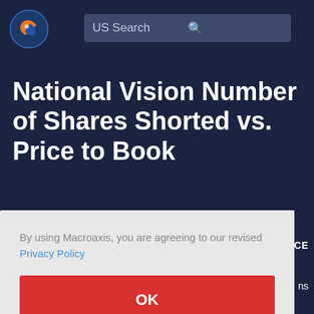[Figure (logo): Macroaxis globe logo — orange and blue circular icon]
US Search
National Vision Number of Shares Shorted vs. Price to Book
By using Macroaxis, you are agreeing to our revised Privacy Policy
OK
ADVICE
ns